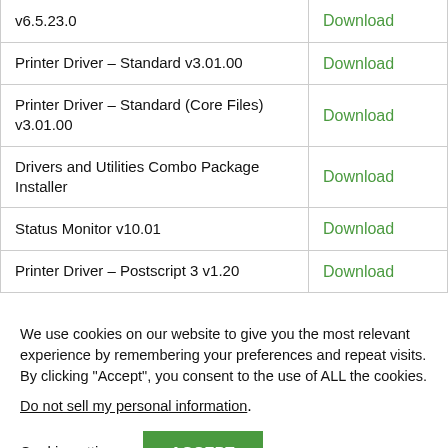|  |  |
| --- | --- |
| v6.5.23.0 | Download |
| Printer Driver – Standard v3.01.00 | Download |
| Printer Driver – Standard (Core Files) v3.01.00 | Download |
| Drivers and Utilities Combo Package Installer | Download |
| Status Monitor v10.01 | Download |
| Printer Driver – Postscript 3 v1.20 | Download |
We use cookies on our website to give you the most relevant experience by remembering your preferences and repeat visits. By clicking "Accept", you consent to the use of ALL the cookies.
Do not sell my personal information.
Cookie settings   ACCEPT